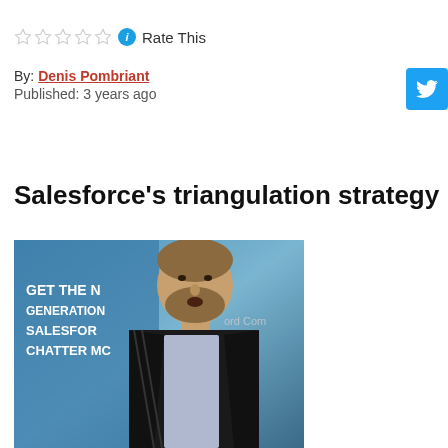☆☆☆☆☆ ℹ Rate This
By: Denis Pombriant
Published: 3 years ago
Salesforce's triangulation strategy
[Figure (photo): Photo of a man speaking at a Salesforce event, with signage reading GET THE NEXT GENERATION SALESFORCE CHATTER MORE visible in the background]